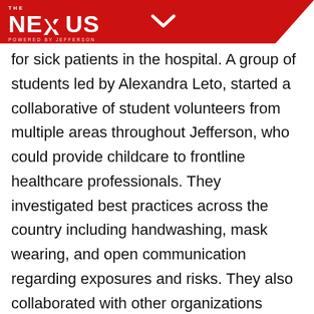THE NEXUS — POWERED BY JEFFERSON
for sick patients in the hospital. A group of students led by Alexandra Leto, started a collaborative of student volunteers from multiple areas throughout Jefferson, who could provide childcare to frontline healthcare professionals. They investigated best practices across the country including handwashing, mask wearing, and open communication regarding exposures and risks. They also collaborated with other organizations starting similar initiatives to offer care early in the pandemic. This fall, the group is looking to re-organize with new students and begin offering sessions again.